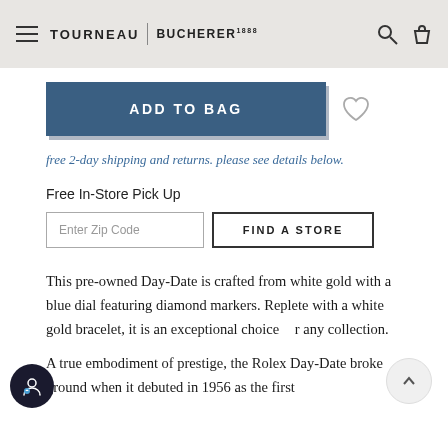TOURNEAU | BUCHERER
ADD TO BAG
free 2-day shipping and returns. please see details below.
Free In-Store Pick Up
Enter Zip Code
FIND A STORE
This pre-owned Day-Date is crafted from white gold with a blue dial featuring diamond markers. Replete with a white gold bracelet, it is an exceptional choice for any collection.
A true embodiment of prestige, the Rolex Day-Date broke ground when it debuted in 1956 as the first